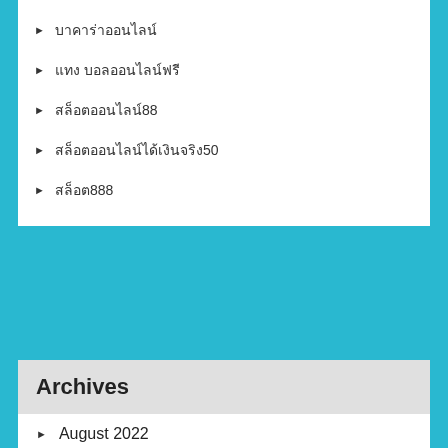▶ บาคาร่าออนไลน์
▶ แทง บอลออนไลน์ฟรี
▶ สล็อตออนไลน์88
▶ สล็อตออนไลน์ได้เงินจริง50
▶ สล็อต888
Archives
▶ August 2022
▶ June 2022
▶ May 2022
▶ April 2022
▶ March 2022
▶ February 2022
▶ January 2022
▶ December 2021
▶ November 2021